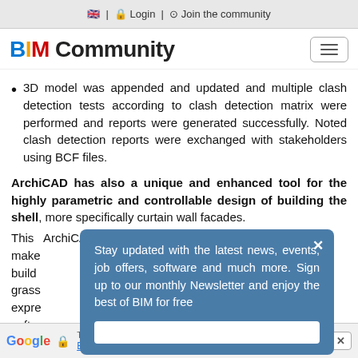🇬🇧 | 🔒 Login | ⓘ Join the community
BIM Community
3D model was appended and updated and multiple clash detection tests according to clash detection matrix were performed and reports were generated successfully. Noted clash detection reports were exchanged with stakeholders using BCF files.
ArchiCAD has also a unique and enhanced tool for the highly parametric and controllable design of building the shell, more specifically curtain wall facades. This … ArchiCAD… make… build… grass… expre… softw… on th…
Stay updated with the latest news, events, job offers, software and much more. Sign up to our monthly Newsletter and enjoy the best of BIM for free
Google | Translated to: English | Show original | Options | ×